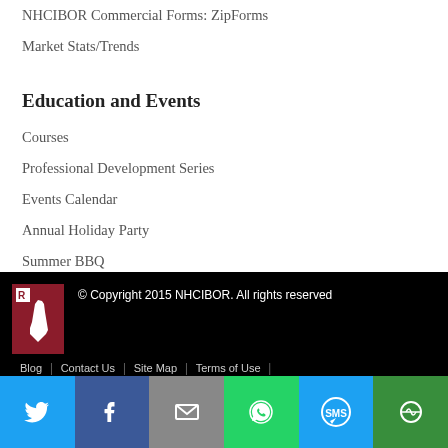NHCIBOR Commercial Forms: ZipForms
Market Stats/Trends
Education and Events
Courses
Professional Development Series
Events Calendar
Annual Holiday Party
Summer BBQ
© Copyright 2015 NHCIBOR. All rights reserved  Blog | Contact Us | Site Map | Terms of Use |
[Figure (infographic): Social share bar with Twitter, Facebook, Email, WhatsApp, SMS, and More buttons]